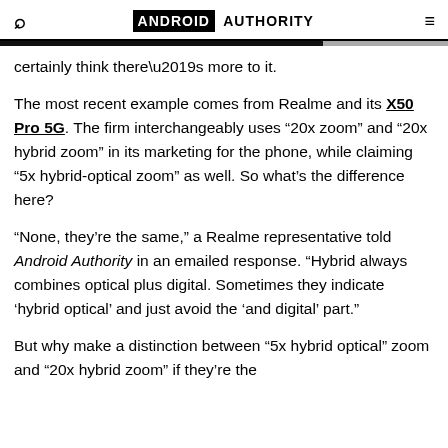ANDROID AUTHORITY
certainly think there’s more to it.
The most recent example comes from Realme and its X50 Pro 5G. The firm interchangeably uses “20x zoom” and “20x hybrid zoom” in its marketing for the phone, while claiming “5x hybrid-optical zoom” as well. So what’s the difference here?
“None, they’re the same,” a Realme representative told Android Authority in an emailed response. “Hybrid always combines optical plus digital. Sometimes they indicate ‘hybrid optical’ and just avoid the ‘and digital’ part.”
But why make a distinction between “5x hybrid optical” zoom and “20x hybrid zoom” if they’re the